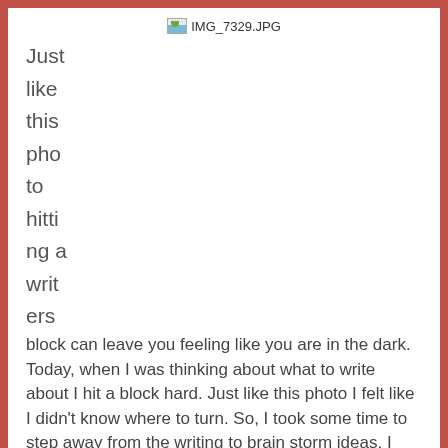[Figure (photo): Broken image placeholder labeled IMG_7329.JPG]
Just like this photo hitting a writers block can leave you feeling like you are in the dark. Today, when I was thinking about what to write about I hit a block hard. Just like this photo I felt like I didn't know where to turn. So, I took some time to step away from the writing to brain storm ideas. I took a walk, had lunch, and binge watched shows on Netflix.
[Figure (photo): Broken image placeholder labeled IMG_7330.JPG]
Ultim